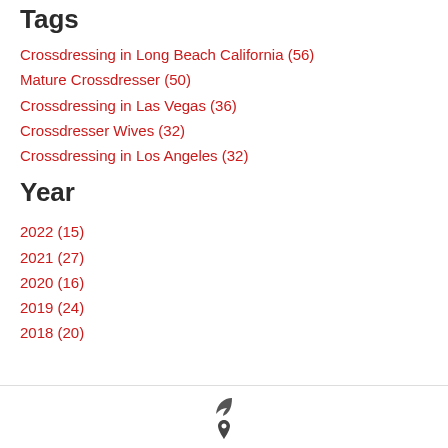Tags
Crossdressing in Long Beach California (56)
Mature Crossdresser (50)
Crossdressing in Las Vegas (36)
Crossdresser Wives (32)
Crossdressing in Los Angeles (32)
Year
2022 (15)
2021 (27)
2020 (16)
2019 (24)
2018 (20)